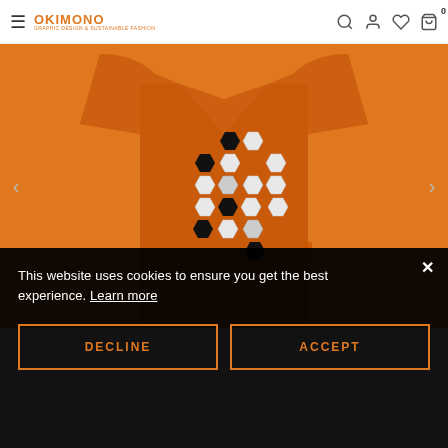OKIMONO — Graphic Design & Sustainable Fashion
[Figure (photo): Orange women's t-shirt/dress with black and white hexagon pattern graphic on the chest, displayed on a model, on an orange background]
This website uses cookies to ensure you get the best experience. Learn more
Decline
Accept